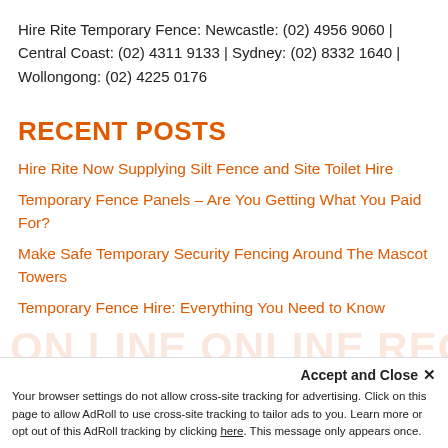Hire Rite Temporary Fence: Newcastle: (02) 4956 9060 | Central Coast: (02) 4311 9133 | Sydney: (02) 8332 1640 | Wollongong: (02) 4225 0176
RECENT POSTS
Hire Rite Now Supplying Silt Fence and Site Toilet Hire
Temporary Fence Panels – Are You Getting What You Paid For?
Make Safe Temporary Security Fencing Around The Mascot Towers
Temporary Fence Hire: Everything You Need to Know
Accept and Close ✕
Your browser settings do not allow cross-site tracking for advertising. Click on this page to allow AdRoll to use cross-site tracking to tailor ads to you. Learn more or opt out of this AdRoll tracking by clicking here. This message only appears once.